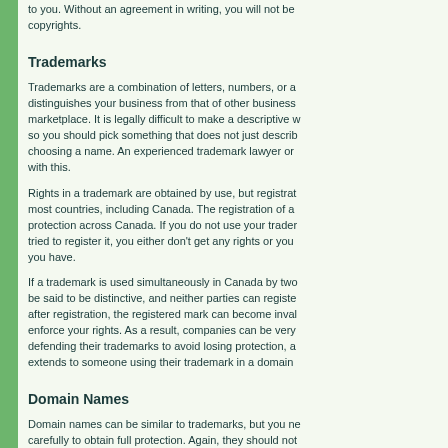to you. Without an agreement in writing, you will not be... copyrights.
Trademarks
Trademarks are a combination of letters, numbers, or a... with this.
Rights in a trademark are obtained by use, but registrat... you have.
If a trademark is used simultaneously in Canada by two... extends to someone using their trademark in a domain
Domain Names
Domain names can be similar to trademarks, but you ne... business.